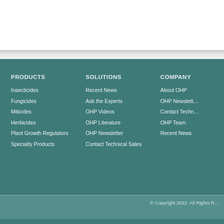PRODUCTS
Insecticides
Fungicides
Miticides
Herbicides
Plant Growth Regulators
Specialty Products
SOLUTIONS
Recent News
Ask the Experts
OHP Videos
OHP Literature
OHP Newsletter
Contact Technical Sales
COMPANY
About OHP
OHP Newsletter
Contact Techn…
OHP Team
Recent News
© Copyright 2022. All Rights R…